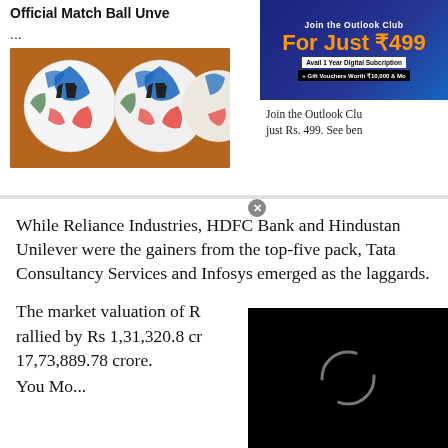Official Match Ball Unve...
[Figure (photo): Multiple Adidas official match balls for FIFA World Cup displayed together]
[Figure (screenshot): Outlook Club advertisement banner: Join the Outlook Club For Just ₹499. Avail 1 Year Digital Subscription + Gift Vouchers Worth ₹10,000 & More]
Join the Outlook Club just Rs. 499. See ben...
While Reliance Industries, HDFC Bank and Hindustan Unilever were the gainers from the top-five pack, Tata Consultancy Services and Infosys emerged as the laggards.
The market valuation of R... rallied by Rs 1,31,320.8 cr... 17,73,889.78 crore.
You Mo...
[Figure (screenshot): Black video player overlay with loading spinner]